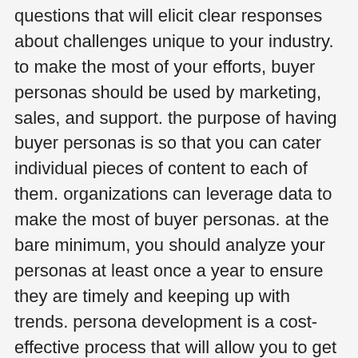questions that will elicit clear responses about challenges unique to your industry. to make the most of your efforts, buyer personas should be used by marketing, sales, and support. the purpose of having buyer personas is so that you can cater individual pieces of content to each of them. organizations can leverage data to make the most of buyer personas. at the bare minimum, you should analyze your personas at least once a year to ensure they are timely and keeping up with trends. persona development is a cost-effective process that will allow you to get the most from your inbound marketing budget. if you have not gone through the persona development process before, working with an expert is the best way to ensure that you are getting the desired value for your money.
buyer personas are a key way to address that consumer need, while streamlining your marketing and sales process so you're only spending time on the leads most likely to convert. your buyer...